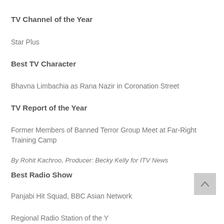TV Channel of the Year
Star Plus
Best TV Character
Bhavna Limbachia as Rana Nazir in Coronation Street
TV Report of the Year
Former Members of Banned Terror Group Meet at Far-Right Training Camp
By Rohit Kachroo, Producer: Becky Kelly for ITV News
Best Radio Show
Panjabi Hit Squad, BBC Asian Network
Regional Radio Station of the Year